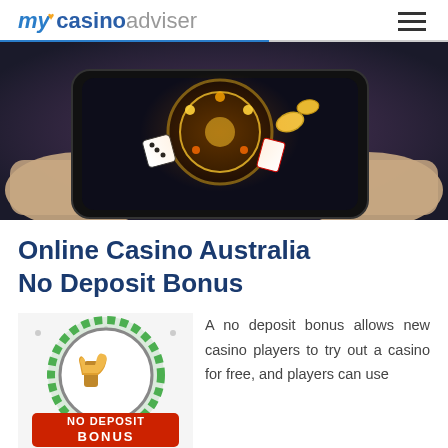my casino adviser
[Figure (photo): Hands holding a smartphone with glowing casino game elements — roulette wheel, dice, and coins floating above the phone screen]
Online Casino Australia No Deposit Bonus
[Figure (illustration): Badge/seal graphic with a thumbs-up icon and text 'NO DEPOSIT BONUS' in red lettering on a green and grey circular border]
A no deposit bonus allows new casino players to try out a casino for free, and players can use